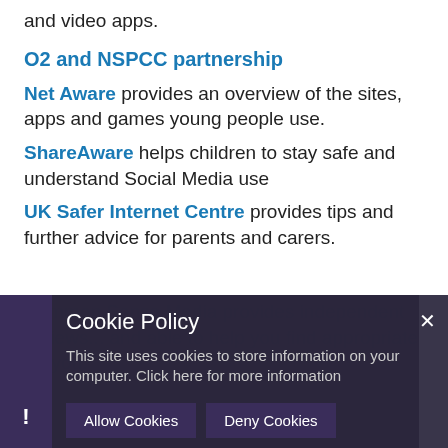and video apps.
O2 and NSPCC partnership
Net Aware provides an overview of the sites, apps and games young people use.
ShareAware helps children to stay safe and understand Social Media use
UK Safer Internet Centre provides tips and further advice for parents and carers.
Common Sense Media provides independent reviews... and age appropriate for you.
Cookie Policy
This site uses cookies to store information on your computer. Click here for more information
Allow Cookies   Deny Cookies